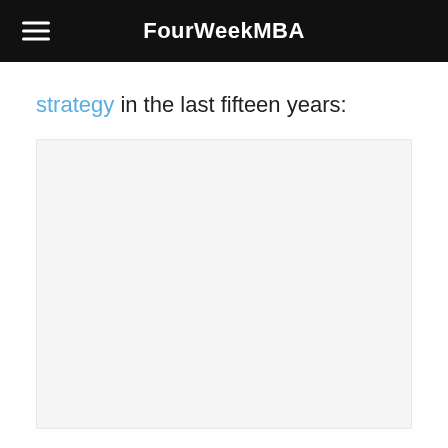FourWeekMBA
strategy in the last fifteen years:
[Figure (other): Empty placeholder box with light gray background]